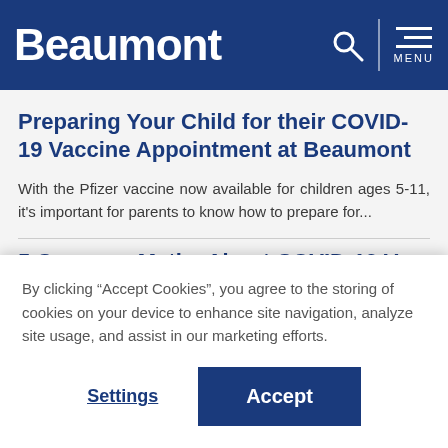Beaumont
Preparing Your Child for their COVID-19 Vaccine Appointment at Beaumont
With the Pfizer vaccine now available for children ages 5-11, it's important for parents to know how to prepare for...
5 Common Myths About COVID-19 Vaccines...
By clicking “Accept Cookies”, you agree to the storing of cookies on your device to enhance site navigation, analyze site usage, and assist in our marketing efforts.